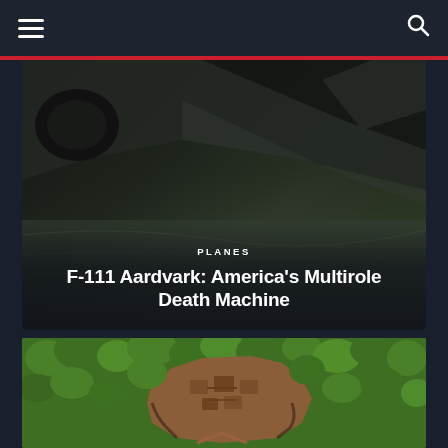Navigation bar with hamburger menu and search icon
[Figure (photo): Aerial view looking up at the underside of an F-111 Aardvark aircraft wing and fuselage, with dark terrain visible below]
PLANES
F-111 Aardvark: America's Multirole Death Machine
[Figure (photo): Aerial drone photograph of an ancient temple or ruins complex surrounded by dense green jungle/forest canopy, with reddish-brown stone structures visible in the center]